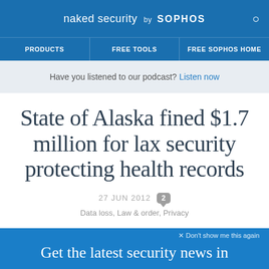naked security by SOPHOS
PRODUCTS | FREE TOOLS | FREE SOPHOS HOME
Have you listened to our podcast? Listen now
State of Alaska fined $1.7 million for lax security protecting health records
27 JUN 2012  2
Data loss, Law & order, Privacy
× Don't show me this again
Get the latest security news in